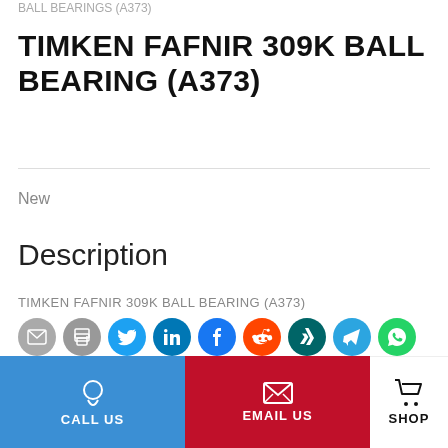BALL BEARINGS (A373)
TIMKEN FAFNIR 309K BALL BEARING (A373)
New
Description
TIMKEN FAFNIR 309K BALL BEARING (A373)
[Figure (infographic): Social share icons: email, print, Twitter, LinkedIn, Facebook, Reddit, Xing, Telegram, WhatsApp]
Make An Offer
CALL US | EMAIL US | SHOP